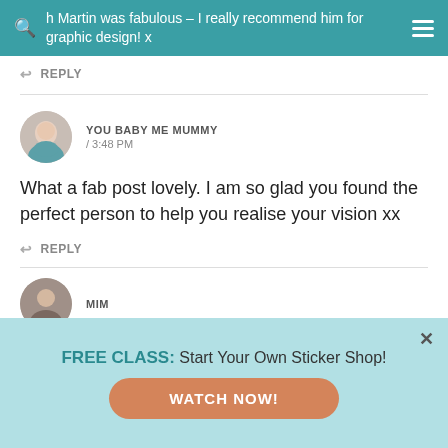h Martin was fabulous – I really recommend him for graphic design! x
REPLY
YOU BABY ME MUMMY / 3:48 PM
What a fab post lovely. I am so glad you found the perfect person to help you realise your vision xx
REPLY
MIM
FREE CLASS: Start Your Own Sticker Shop!
WATCH NOW!